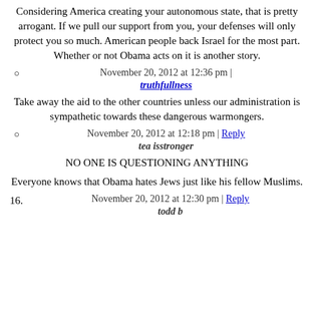Considering America creating your autonomous state, that is pretty arrogant. If we pull our support from you, your defenses will only protect you so much. American people back Israel for the most part. Whether or not Obama acts on it is another story.
November 20, 2012 at 12:36 pm |
truthfullness
Take away the aid to the other countries unless our administration is sympathetic towards these dangerous warmongers.
November 20, 2012 at 12:18 pm | Reply
tea isstronger
NO ONE IS QUESTIONING ANYTHING
Everyone knows that Obama hates Jews just like his fellow Muslims.
November 20, 2012 at 12:30 pm | Reply
todd b